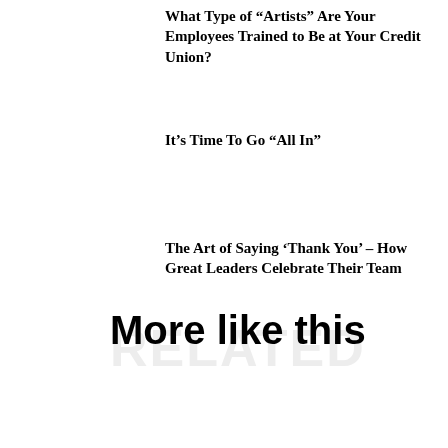What Type of “Artists” Are Your Employees Trained to Be at Your Credit Union?
It’s Time To Go “All In”
The Art of Saying ‘Thank You’ – How Great Leaders Celebrate Their Team
More like this